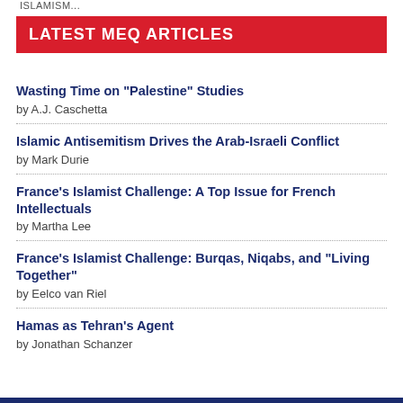ISLAMISM...
LATEST MEQ ARTICLES
Wasting Time on "Palestine" Studies
by A.J. Caschetta
Islamic Antisemitism Drives the Arab-Israeli Conflict
by Mark Durie
France's Islamist Challenge: A Top Issue for French Intellectuals
by Martha Lee
France's Islamist Challenge: Burqas, Niqabs, and "Living Together"
by Eelco van Riel
Hamas as Tehran's Agent
by Jonathan Schanzer